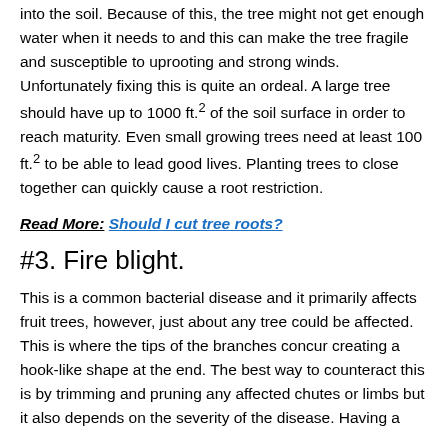into the soil. Because of this, the tree might not get enough water when it needs to and this can make the tree fragile and susceptible to uprooting and strong winds. Unfortunately fixing this is quite an ordeal. A large tree should have up to 1000 ft.² of the soil surface in order to reach maturity. Even small growing trees need at least 100 ft.² to be able to lead good lives. Planting trees to close together can quickly cause a root restriction.
Read More: Should I cut tree roots?
#3. Fire blight.
This is a common bacterial disease and it primarily affects fruit trees, however, just about any tree could be affected. This is where the tips of the branches concur creating a hook-like shape at the end. The best way to counteract this is by trimming and pruning any affected chutes or limbs but it also depends on the severity of the disease. Having a